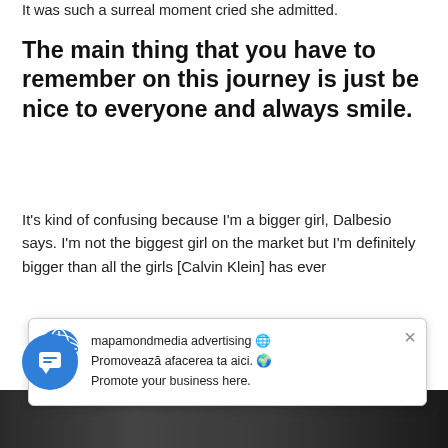It was such a surreal moment cried she admitted.
The main thing that you have to remember on this journey is just be nice to everyone and always smile.
It's kind of confusing because I'm a bigger girl, Dalbesio says. I'm not the biggest girl on the market but I'm definitely bigger than all the girls [Calvin Klein] has ever worked with ... intimidating. She wasn't ... was expected from her ... of her was the same thing that was expected of Lara Stone: to take a beautiful
[Figure (other): Popup advertisement overlay with globe icon and close button. Text reads: mapamond media advertising. Promovează afacerea ta aici. Promote your business here.]
[Figure (other): Blue circular chat button in bottom left corner.]
[Figure (photo): Dark strip at bottom of page showing a partial blurred photograph.]